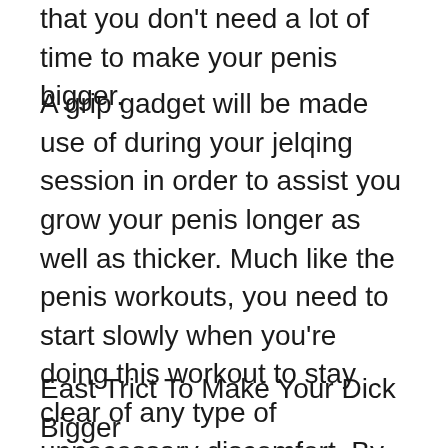that you don't need a lot of time to make your penis bigger.
A grip gadget will be made use of during your jelqing session in order to assist you grow your penis longer as well as thicker. Much like the penis workouts, you need to start slowly when you're doing this workout to stay clear of any type of unnecessary discomfort. By applying slight pressure, you can compel your penis to grow in length and width. And much like the exercises, you don't require a great deal of time to make your penis larger dick making use of a grip device.
East Trict To Make Your Dick Bigger